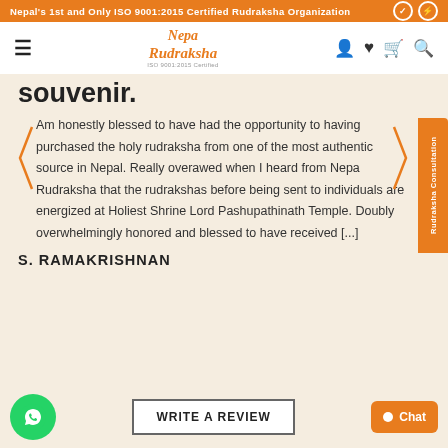Nepal's 1st and Only ISO 9001:2015 Certified Rudraksha Organization
[Figure (logo): Nepa Rudraksha logo with ISO 9001:2015 Certified text]
souvenir.
Am honestly blessed to have had the opportunity to having purchased the holy rudraksha from one of the most authentic source in Nepal. Really overawed when I heard from Nepa Rudraksha that the rudrakshas before being sent to individuals are energized at Holiest Shrine Lord Pashupathinath Temple. Doubly overwhelmingly honored and blessed to have received [...]
S. RAMAKRISHNAN